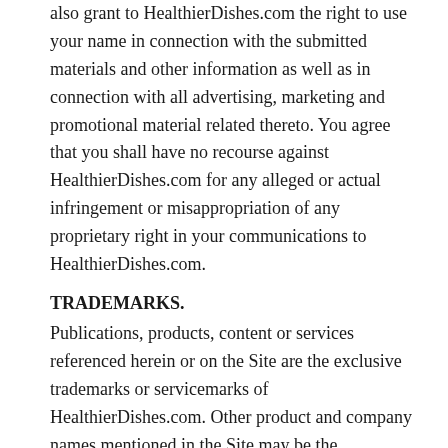also grant to HealthierDishes.com the right to use your name in connection with the submitted materials and other information as well as in connection with all advertising, marketing and promotional material related thereto. You agree that you shall have no recourse against HealthierDishes.com for any alleged or actual infringement or misappropriation of any proprietary right in your communications to HealthierDishes.com.
TRADEMARKS.
Publications, products, content or services referenced herein or on the Site are the exclusive trademarks or servicemarks of HealthierDishes.com. Other product and company names mentioned in the Site may be the trademarks